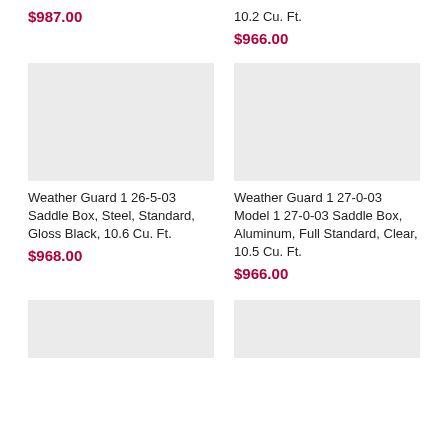$987.00
10.2 Cu. Ft.
$966.00
[Figure (photo): Product image placeholder, light gray background]
[Figure (photo): Product image placeholder, light gray background]
Weather Guard 1 26-5-03 Saddle Box, Steel, Standard, Gloss Black, 10.6 Cu. Ft.
$968.00
Weather Guard 1 27-0-03 Model 1 27-0-03 Saddle Box, Aluminum, Full Standard, Clear, 10.5 Cu. Ft.
$966.00
[Figure (photo): Product image placeholder, light gray background]
[Figure (photo): Product image placeholder, light gray background]